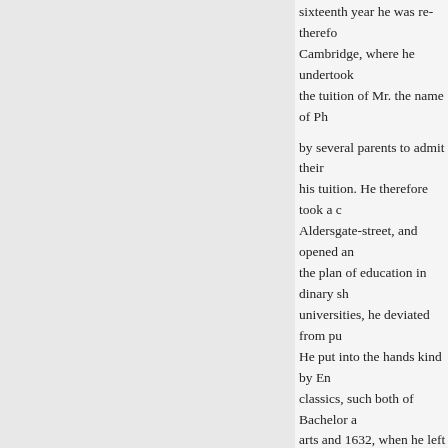sixteenth year he was re- therefore Cambridge, where he undertook the tuition of Mr. the name of Ph
by several parents to admit their his tuition. He therefore took a co Aldersgate-street, and opened an the plan of education in dinary sh universities, he deviated from pu He put into the hands kind by En classics, such both of Bachelor a arts and 1632, when he left Camb original intention of entering the has given as a reason, that, "com years, he had perceived what tyra which denotes a man early habit for himself.
draught from others. We learn, he the task of instruction with great long suffer himself to lie under in neglected the public cause study 1641, he publishin the compositi government, in neous poems. Th Presby and Baronrooc his Com